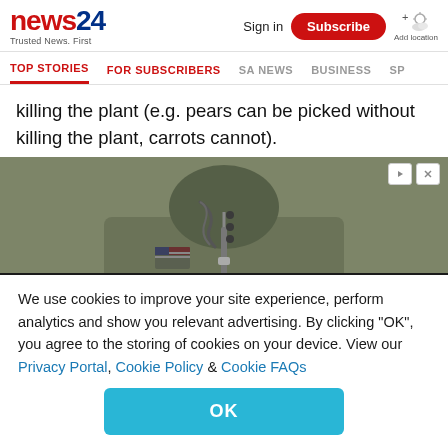news24 Trusted News. First | Sign in | Subscribe | Add location
TOP STORIES | FOR SUBSCRIBERS | SA NEWS | BUSINESS | SP...
killing the plant (e.g. pears can be picked without killing the plant, carrots cannot).
[Figure (photo): Advertisement showing a military-style olive green jacket with American flag patch and zipper details, headless torso shot.]
We use cookies to improve your site experience, perform analytics and show you relevant advertising. By clicking "OK", you agree to the storing of cookies on your device. View our Privacy Portal, Cookie Policy & Cookie FAQs
OK